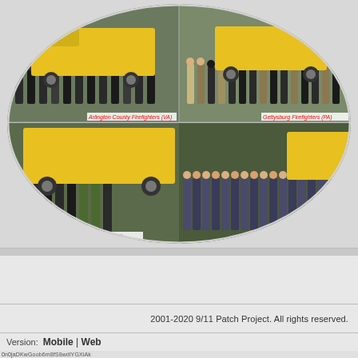[Figure (photo): Circular collage of four group photos of firefighters posing in front of yellow fire trucks. Top-left: Arlington County Firefighters (VA). Top-right: Gettysburg Firefighters (PA). Bottom-left: Wilmington Firefighters (DE). Bottom-right: partially visible group photo.]
2001-2020 9/11 Patch Project. All rights reserved.
Version: Mobile | Web
0n0jaDKwGoob6m8fS8wdlYGXiAk